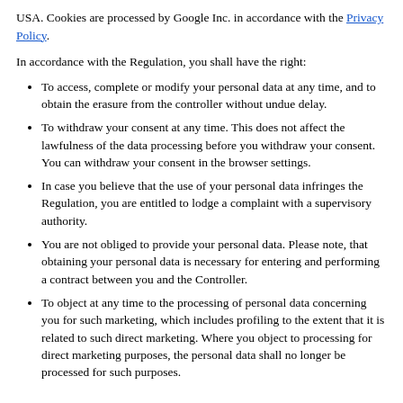USA. Cookies are processed by Google Inc. in accordance with the Privacy Policy.
In accordance with the Regulation, you shall have the right:
To access, complete or modify your personal data at any time, and to obtain the erasure from the controller without undue delay.
To withdraw your consent at any time. This does not affect the lawfulness of the data processing before you withdraw your consent. You can withdraw your consent in the browser settings.
In case you believe that the use of your personal data infringes the Regulation, you are entitled to lodge a complaint with a supervisory authority.
You are not obliged to provide your personal data. Please note, that obtaining your personal data is necessary for entering and performing a contract between you and the Controller.
To object at any time to the processing of personal data concerning you for such marketing, which includes profiling to the extent that it is related to such direct marketing. Where you object to processing for direct marketing purposes, the personal data shall no longer be processed for such purposes.